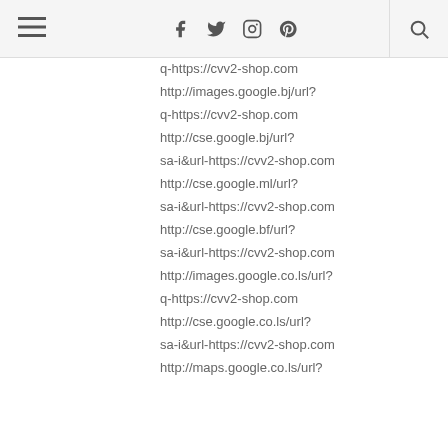Navigation header with hamburger menu, social icons (Facebook, Twitter, Instagram, Pinterest), and search icon
q-https://cvv2-shop.com
http://images.google.bj/url?
q-https://cvv2-shop.com
http://cse.google.bj/url?
sa-i&url-https://cvv2-shop.com
http://cse.google.ml/url?
sa-i&url-https://cvv2-shop.com
http://cse.google.bf/url?
sa-i&url-https://cvv2-shop.com
http://images.google.co.ls/url?
q-https://cvv2-shop.com
http://cse.google.co.ls/url?
sa-i&url-https://cvv2-shop.com
http://maps.google.co.ls/url?